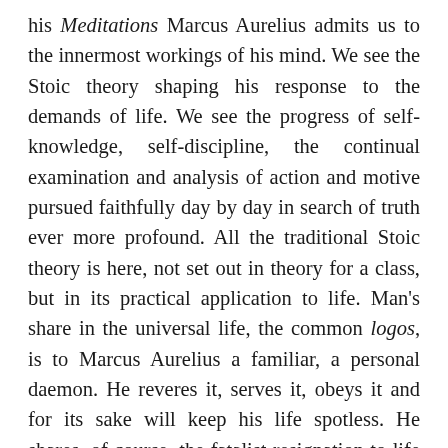his Meditations Marcus Aurelius admits us to the innermost workings of his mind. We see the Stoic theory shaping his response to the demands of life. We see the progress of self-knowledge, self-discipline, the continual examination and analysis of action and motive pursued faithfully day by day in search of truth ever more profound. All the traditional Stoic theory is here, not set out in theory for a class, but in its practical application to life. Man's share in the universal life, the common logos, is to Marcus Aurelius a familiar, a personal daemon. He reveres it, serves it, obeys it and for its sake will keep his life spotless. He shares, of course, the fatalist resignation to life which is the aim of the school, though the thought of the extinction which is death moves him to angry resentment. On the other hand he believes in prayer, prayer not to the gods of the classic pantheon, but to Fortune, the Sun, the Stars, Asclepios. Inevitably he is the victim of superstition, dreams and omens playing their part in his life. And the whole life is built on a foundation that is ever in movement, on hypotheses